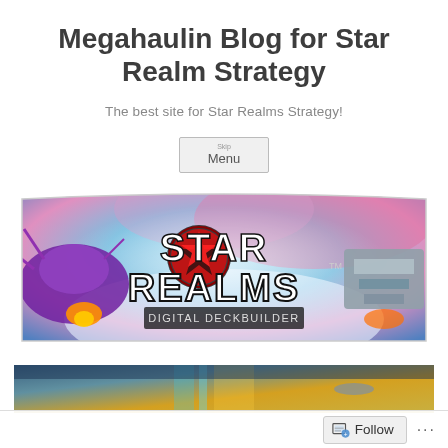Megahaulin Blog for Star Realm Strategy
The best site for Star Realms Strategy!
Menu
[Figure (illustration): Star Realms Digital Deckbuilder banner image with spaceships and the Star Realms logo on a colorful space background]
[Figure (illustration): Partial banner image showing a space scene with golden/teal colors, partially cropped]
Follow